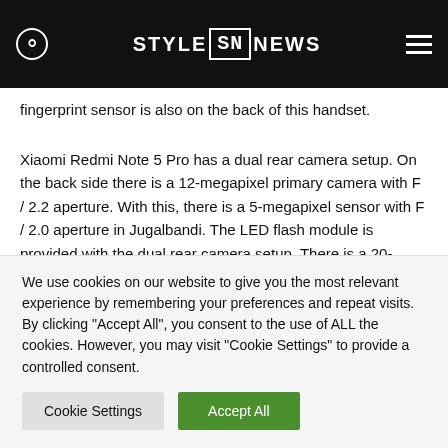STYLE SN NEWS
fingerprint sensor is also on the back of this handset.
Xiaomi Redmi Note 5 Pro has a dual rear camera setup. On the back side there is a 12-megapixel primary camera with F / 2.2 aperture. With this, there is a 5-megapixel sensor with F / 2.0 aperture in Jugalbandi. The LED flash module is provided with the dual rear camera setup. There is a 20-megapixel Sony IMX376 sensor on the front panel. Both the variants of Xiaomi Redmi Note 5 Pro have 64 GB of storage and it is also possible to use microSD card if needed. Connectivity features of Xiaomi Redmi
We use cookies on our website to give you the most relevant experience by remembering your preferences and repeat visits. By clicking "Accept All", you consent to the use of ALL the cookies. However, you may visit "Cookie Settings" to provide a controlled consent.